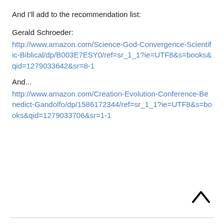And I'll add to the recommendation list:
Gerald Schroeder:
http://www.amazon.com/Science-God-Convergence-Scientific-Biblical/dp/B003E7ESY0/ref=sr_1_1?ie=UTF8&s=books&qid=1279033642&sr=8-1
And...
http://www.amazon.com/Creation-Evolution-Conference-Benedict-Gandolfo/dp/1586172344/ref=sr_1_1?ie=UTF8&s=books&qid=1279033706&sr=1-1